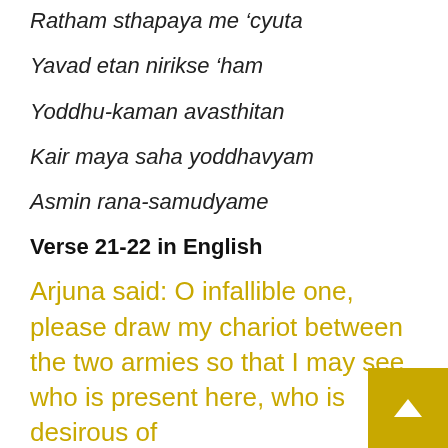Ratham sthapaya me 'cyuta
Yavad etan nirikse 'ham
Yoddhu-kaman avasthitan
Kair maya saha yoddhavyam
Asmin rana-samudyame
Verse 21-22 in English
Arjuna said: O infallible one, please draw my chariot between the two armies so that I may see who is present here, who is desirous of